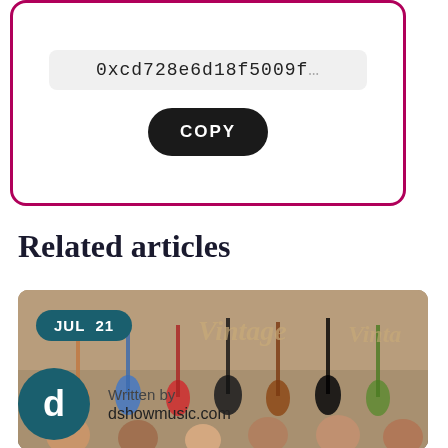[Figure (screenshot): UI card with border showing a hash value input field reading '0xcd728e6d18f5009f' and a black oval COPY button below it, all inside a pink/magenta rounded border card]
Related articles
[Figure (photo): Photo of a group of people standing in front of a wall of electric guitars in what appears to be a vintage guitar store. Text overlays include 'Vintage' branding and a JUL 21 date badge.]
Written by
dshowmusic.com